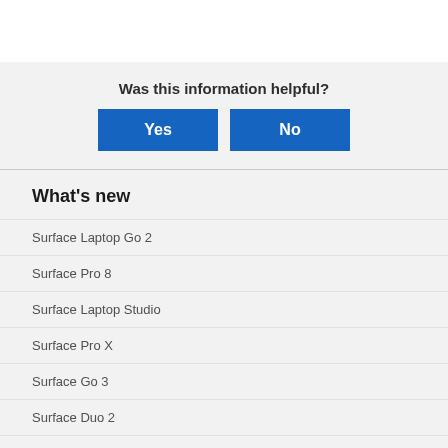Was this information helpful?
Yes
No
What's new
Surface Laptop Go 2
Surface Pro 8
Surface Laptop Studio
Surface Pro X
Surface Go 3
Surface Duo 2
Surface Pro 7+
Windows 11 apps